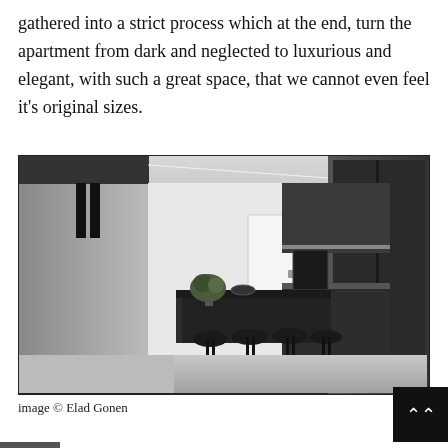gathered into a strict process which at the end, turn the apartment from dark and neglected to luxurious and elegant, with such a great space, that we cannot even feel it's original sizes.
[Figure (photo): Black and white interior photograph of a modern luxury kitchen with dark cabinetry, a large island with four black bar stools, potted plant, and recessed lighting on the ceiling. The space is open-plan with minimal design.]
image © Elad Gonen